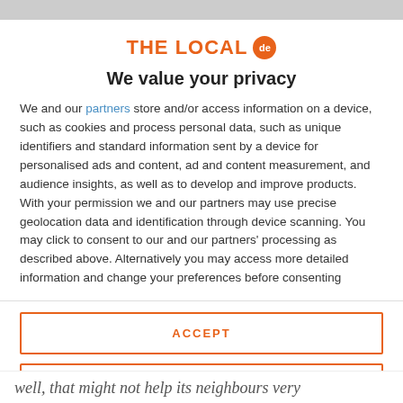[Figure (logo): THE LOCAL de logo with orange text and orange circular badge with 'de']
We value your privacy
We and our partners store and/or access information on a device, such as cookies and process personal data, such as unique identifiers and standard information sent by a device for personalised ads and content, ad and content measurement, and audience insights, as well as to develop and improve products. With your permission we and our partners may use precise geolocation data and identification through device scanning. You may click to consent to our and our partners' processing as described above. Alternatively you may access more detailed information and change your preferences before consenting
ACCEPT
MORE OPTIONS
well, that might not help its neighbours very